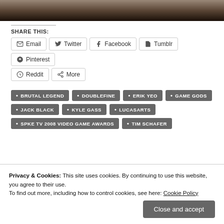[Figure (photo): Top partial image showing dark background, likely a person or object on a dark surface]
SHARE THIS:
Email  Twitter  Facebook  Tumblr  Pinterest  Reddit  More
• BRUTAL LEGEND  • DOUBLEFINE  • ERIK YEO  • GAME GODS  • JACK BLACK  • KYLE GASS  • LUCASARTS  • SPKE TV 2008 VIDEO GAME AWARDS  • TIM SCHAFER
Privacy & Cookies: This site uses cookies. By continuing to use this website, you agree to their use. To find out more, including how to control cookies, see here: Cookie Policy
Close and accept
ROMBERG TO FOUR